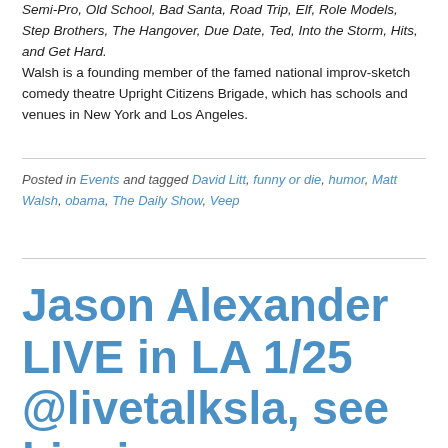Semi-Pro, Old School, Bad Santa, Road Trip, Elf, Role Models, Step Brothers, The Hangover, Due Date, Ted, Into the Storm, Hits, and Get Hard.
Walsh is a founding member of the famed national improv-sketch comedy theatre Upright Citizens Brigade, which has schools and venues in New York and Los Angeles.
Posted in Events and tagged David Litt, funny or die, humor, Matt Walsh, obama, The Daily Show, Veep
Jason Alexander LIVE in LA 1/25 @livetalksla, see him in @funnyordie video